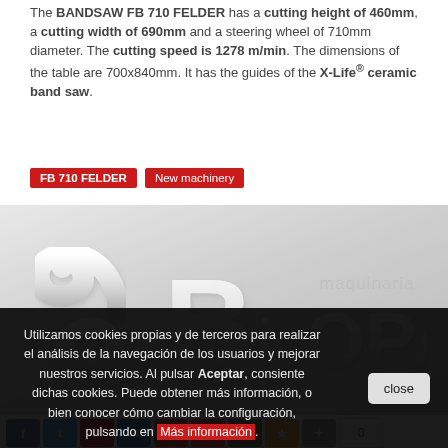The BANDSAW FB 710 FELDER has a cutting height of 460mm, a cutting width of 690mm and a steering wheel of 710mm diameter. The cutting speed is 1278 m/min. The dimensions of the table are 700x840mm. It has the guides of the X-Life® ceramic band saw.
FB 710 FELDER | New machinery
[Figure (logo): Bricopa maquinaria logo — large white 3D letters on grey gradient background with abstract swirl icon on the left]
[Figure (infographic): Social sharing bar with icons: Facebook, Twitter, Pinterest, LinkedIn, Email, Gmail, Print, Star, Plus, and a count of 0]
Utilizamos cookies propias y de terceros para realizar el análisis de la navegación de los usuarios y mejorar nuestros servicios. Al pulsar Aceptar, consiente dichas cookies. Puede obtener más información, o bien conocer cómo cambiar la configuración, pulsando en Más información.